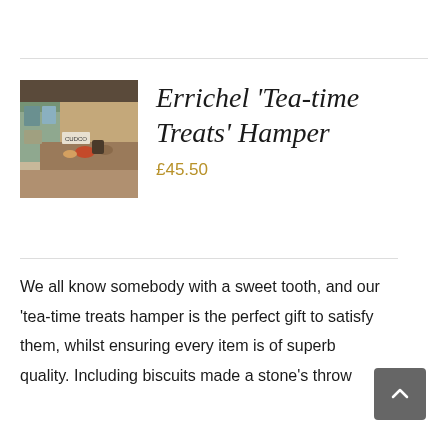[Figure (photo): Photo of a shop interior/stall with artisan products, jars, and food items on display, with a 'CUDCO' label visible]
Errichel 'Tea-time Treats' Hamper
£45.50
We all know somebody with a sweet tooth, and our 'tea-time treats hamper is the perfect gift to satisfy them, whilst ensuring every item is of superb quality. Including biscuits made a stone's throw